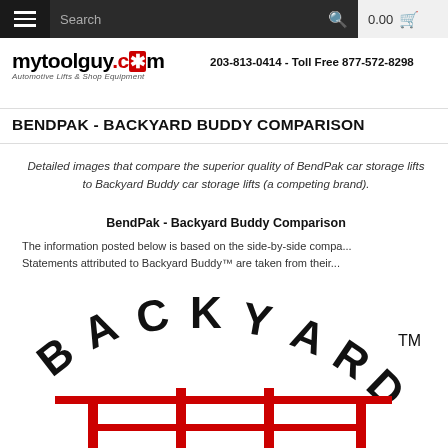Navigation bar with hamburger menu, Search, cart 0.00
[Figure (logo): mytoolguy.com logo - Automotive Lifts & Shop Equipment]
203-813-0414 - Toll Free 877-572-8298
BENDPAK - BACKYARD BUDDY COMPARISON
Detailed images that compare the superior quality of BendPak car storage lifts to Backyard Buddy car storage lifts (a competing brand).
BendPak - Backyard Buddy Comparison
The information posted below is based on the side-by-side compa... Statements attributed to Backyard Buddy™ are taken from their...
[Figure (logo): Backyard Buddy logo - BACKYARD text in arc with TM mark, red lift structure below]